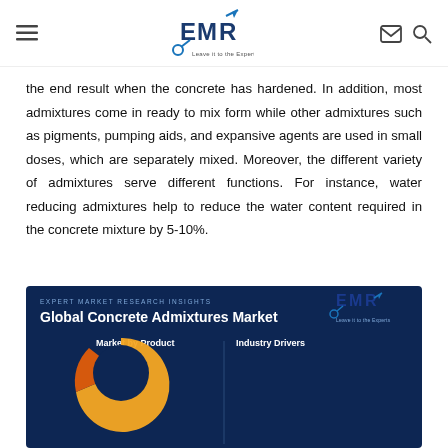EMR – Expert Market Research – Leave it to the Experts
the end result when the concrete has hardened. In addition, most admixtures come in ready to mix form while other admixtures such as pigments, pumping aids, and expansive agents are used in small doses, which are separately mixed. Moreover, the different variety of admixtures serve different functions. For instance, water reducing admixtures help to reduce the water content required in the concrete mixture by 5-10%.
[Figure (infographic): Expert Market Research Insights infographic for Global Concrete Admixtures Market. Shows 'Market by Product' section with a partial donut/pie chart in orange and gold colors, and 'Industry Drivers' section with text: 'The major drivers of the industry such as the increased demand for concrete admixtures in the construction industry, heightened demand for'. Background is dark navy blue. EMR logo in top right corner.]